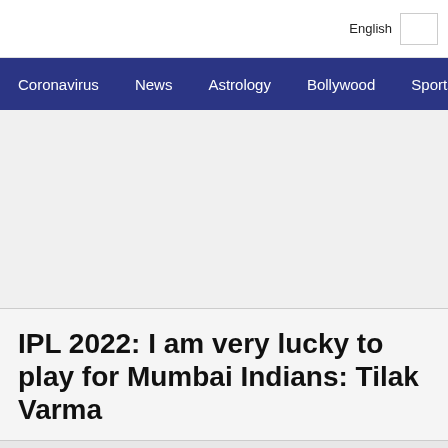English
Coronavirus  News  Astrology  Bollywood  Sports
[Figure (other): Advertisement or blank content area with light gray background]
IPL 2022: I am very lucky to play for Mumbai Indians: Tilak Varma